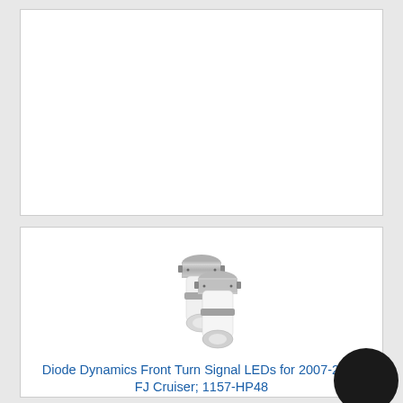[Figure (other): Empty white product card placeholder with light gray border]
[Figure (photo): Two white cylindrical LED bulbs with silver metallic bases (1157 bayonet style) with lens ends, shown side by side at an angle]
Diode Dynamics Front Turn Signal LEDs for 2007-2012 FJ Cruiser; 1157-HP48